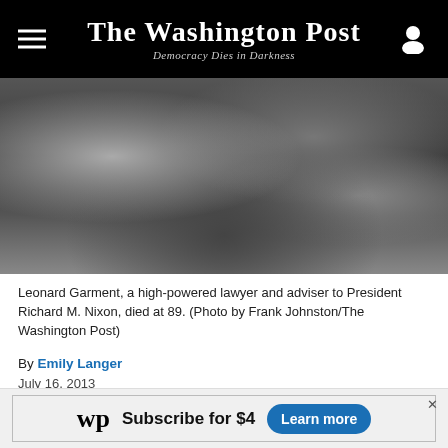The Washington Post — Democracy Dies in Darkness
[Figure (photo): Black and white photograph of Leonard Garment, blurred background with shadowy figures]
Leonard Garment, a high-powered lawyer and adviser to President Richard M. Nixon, died at 89. (Photo by Frank Johnston/The Washington Post)
By Emily Langer
July 16, 2013
Leonard Garment, a top-shelf Washington lawyer whose